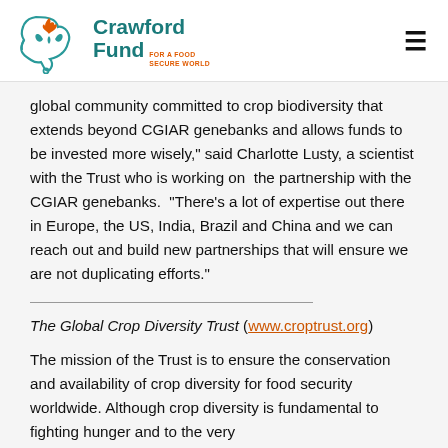Crawford Fund FOR A FOOD SECURE WORLD
global community committed to crop biodiversity that extends beyond CGIAR genebanks and allows funds to be invested more wisely," said Charlotte Lusty, a scientist with the Trust who is working on  the partnership with the CGIAR genebanks.  "There's a lot of expertise out there in Europe, the US, India, Brazil and China and we can reach out and build new partnerships that will ensure we are not duplicating efforts."
The Global Crop Diversity Trust (www.croptrust.org)
The mission of the Trust is to ensure the conservation and availability of crop diversity for food security worldwide. Although crop diversity is fundamental to fighting hunger and to the very